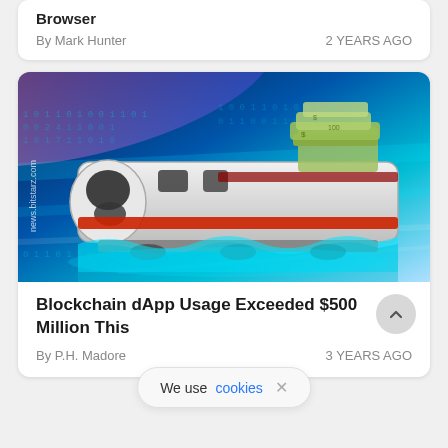Browser
By Mark Hunter   2 YEARS AGO
[Figure (illustration): A cartoon high-speed bullet train carrying a pile of money/cash on top, speeding on a digital/blockchain themed background with glowing blue binary code patterns and light effects. Watermark: news.bitstarz.com]
Blockchain dApp Usage Exceeded $500 Million This
By P.H. Madore   3 YEARS AGO
We use cookies ×